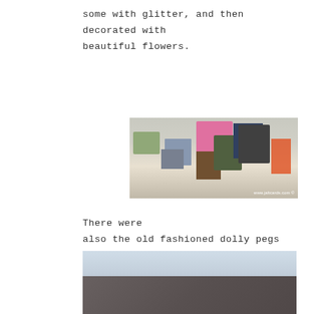some with glitter, and then decorated with beautiful flowers.
[Figure (photo): Photo of decorated craft boxes and gift bags arranged on a shelf, including pink, silver, green, and dark patterned boxes with floral decorations. Watermark: www.jaltcards.com]
There were also the old fashioned dolly pegs that were painted as dancers, super heroes, etc. and dressed accordingly.
[Figure (photo): Photo of a church building showing a steep slate roof with small turret details, brick walls, and trees in the background against a light sky.]